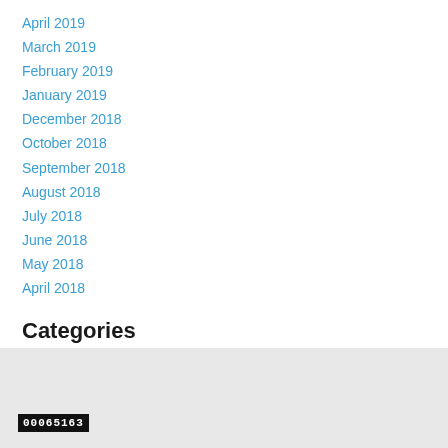April 2019
March 2019
February 2019
January 2019
December 2018
October 2018
September 2018
August 2018
July 2018
June 2018
May 2018
April 2018
Categories
All
RSS Feed
00065163